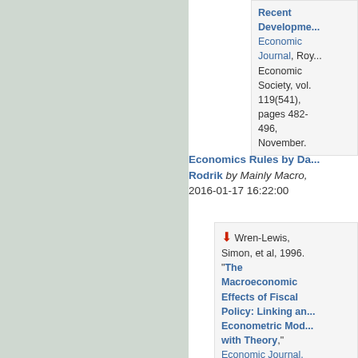Economic Journal, Royal Economic Society, vol. 119(541), pages 482-496, November.
Economics Rules by Dani Rodrik by Mainly Macro, 2016-01-17 16:22:00
Wren-Lewis, Simon, et al, 1996. "The Macroeconomic Effects of Fiscal Policy: Linking an Econometric Model with Theory," Economic Journal, Royal Economic Society, vol. 106(436), pages 5...